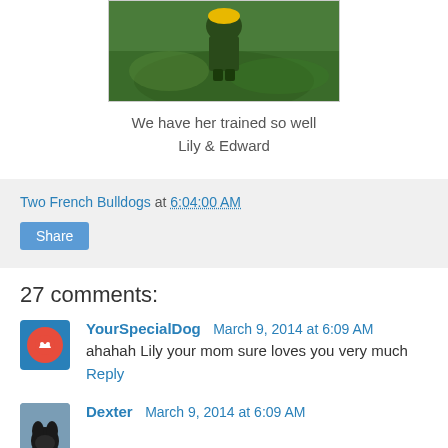[Figure (photo): Partial photo of grass with a figure/toy visible, shown cropped at top of page]
We have her trained so well
Lily & Edward
Two French Bulldogs at 6:04:00 AM
Share
27 comments:
YourSpecialDog March 9, 2014 at 6:09 AM
ahahah Lily your mom sure loves you very much
Reply
Dexter March 9, 2014 at 6:09 AM